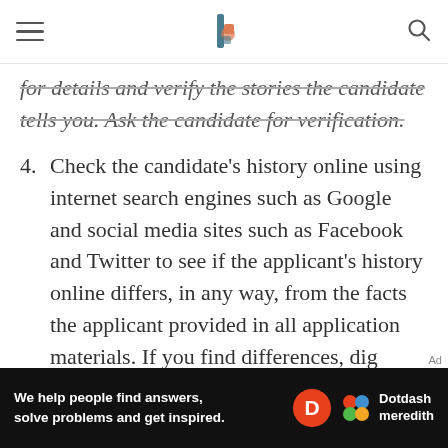[navigation bar with logo]
for details and verify the stories the candidate tells you. Ask the candidate for verification.
4. Check the candidate's history online using internet search engines such as Google and social media sites such as Facebook and Twitter to see if the applicant's history online differs, in any way, from the facts the applicant provided in all application materials. If you find differences, dig deeper, or ask the applicant for an explanation.
5. Look into the candidate's credit history for any position that deals with money, compensation, and any type of financial
Ad | We help people find answers, solve problems and get inspired. Dotdash meredith